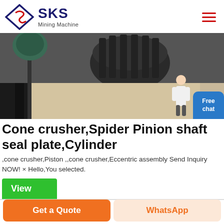SKS Mining Machine
[Figure (photo): Close-up photo of cone crusher machinery parts including black metal frame, rubber hoses/pipes, and a cylindrical component on a light-colored floor surface]
Cone crusher,Spider Pinion shaft seal plate,Cylinder
,cone crusher,Piston ,,cone crusher,Eccentric assembly Send Inquiry NOW! × Hello,You selected.
View
Get a Quote
WhatsApp